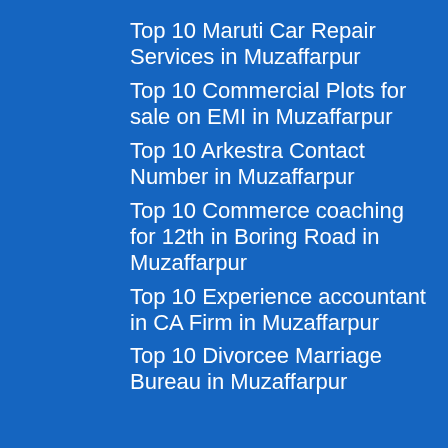Top 10 Maruti Car Repair Services in Muzaffarpur
Top 10 Commercial Plots for sale on EMI in Muzaffarpur
Top 10 Arkestra Contact Number in Muzaffarpur
Top 10 Commerce coaching for 12th in Boring Road in Muzaffarpur
Top 10 Experience accountant in CA Firm in Muzaffarpur
Top 10 Divorcee Marriage Bureau in Muzaffarpur